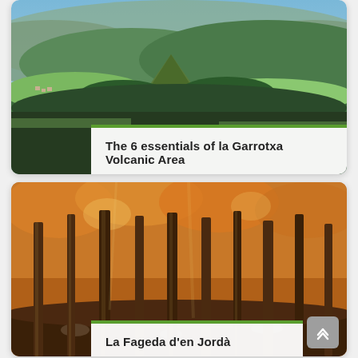[Figure (photo): Aerial view of la Garrotxa Volcanic Area showing green rolling hills, forests, and a conical volcanic peak in the center, with mountains in the background under a blue sky.]
The 6 essentials of la Garrotxa Volcanic Area
[Figure (photo): Autumn forest scene showing tall beech trees with orange and golden leaves, rocky ground, warm light filtering through the trees — La Fageda d'en Jordà.]
La Fageda d'en Jordà